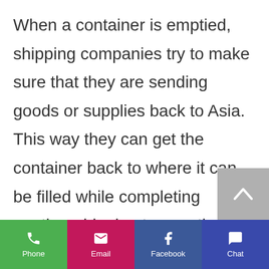When a container is emptied, shipping companies try to make sure that they are sending goods or supplies back to Asia. This way they can get the container back to where it can be filled while completing another shipping transaction. Sometimes it is just too costly to send them back empty and therefore they are abandoned at ports, terminals, or warehouse parking lots. Sometimes you pass a warehouse facility and see an empty
[Figure (other): Scroll-to-top button with upward chevron arrow on grey background]
Phone | Email | Facebook | Chat